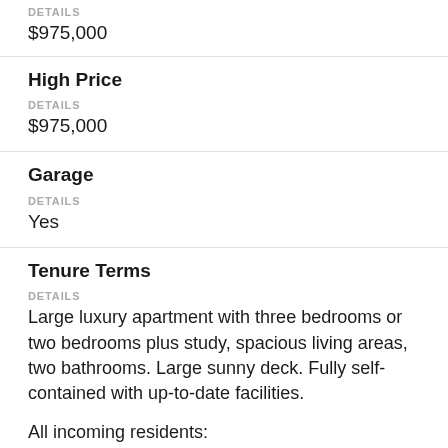DETAILS
$975,000
High Price
DETAILS
$975,000
Garage
DETAILS
Yes
Tenure Terms
DETAILS
Large luxury apartment with three bedrooms or two bedrooms plus study, spacious living areas, two bathrooms. Large sunny deck. Fully self-contained with up-to-date facilities.
All incoming residents: